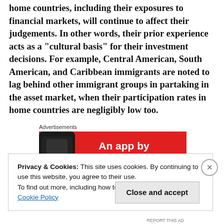home countries, including their exposures to financial markets, will continue to affect their judgements. In other words, their prior experience acts as a "cultural basis" for their investment decisions. For example, Central American, South American, and Caribbean immigrants are noted to lag behind other immigrant groups in partaking in the asset market, when their participation rates in home countries are negligibly low too.
Advertisements
[Figure (infographic): Red advertisement banner with white text reading 'An app by listeners, for' and a dark phone graphic on the left side]
Privacy & Cookies: This site uses cookies. By continuing to use this website, you agree to their use.
To find out more, including how to control cookies, see here: Cookie Policy
Close and accept
REPORT THIS AD